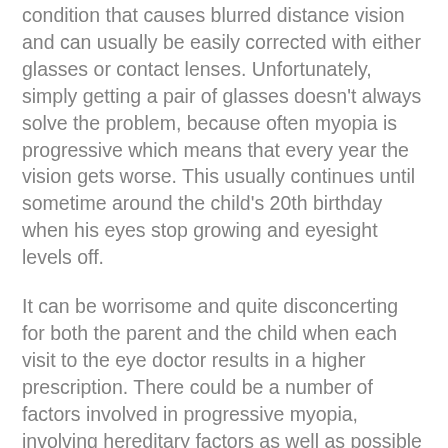condition that causes blurred distance vision and can usually be easily corrected with either glasses or contact lenses. Unfortunately, simply getting a pair of glasses doesn't always solve the problem, because often myopia is progressive which means that every year the vision gets worse. This usually continues until sometime around the child's 20th birthday when his eyes stop growing and eyesight levels off.
It can be worrisome and quite disconcerting for both the parent and the child when each visit to the eye doctor results in a higher prescription. There could be a number of factors involved in progressive myopia, involving hereditary factors as well as possible environmental or behavioral factor such as frequent close-up tasks such as reading or using an electronic device. In fact, studies show that children that spend more time outdoors playing have a lower incidence of